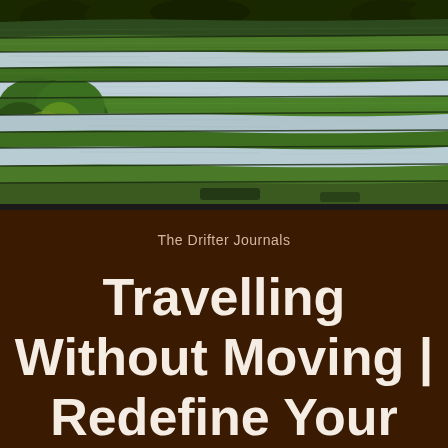[Figure (photo): Aerial view of lush green rice terraces with water-filled paddies, showing layered agricultural terracing typical of Southeast Asia (Bali). Deep green vegetation and reflective water visible across stepped landscape.]
The Drifter Journals
Travelling Without Moving | Redefine Your World